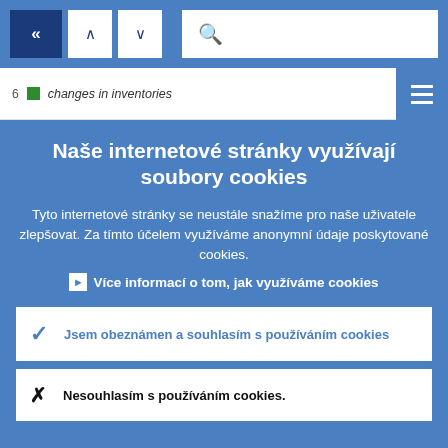[Figure (screenshot): Browser toolbar with back button (double left chevron, dark blue), up and down navigation arrows (white boxes), and search bar with magnifying glass icon on blue background]
6   changes in inventories
[Figure (screenshot): Hamburger menu icon (three white lines) on blue square background]
Naše internetové stránky využívají soubory cookies
Tyto internetové stránky se neustále snažíme pro naše uživatele zlepšovat. Za tímto účelem využíváme anonymní údaje poskytované cookies.
▸  Více informací o tom, jak využíváme cookies
✓  Jsem obeznámen a souhlasím s používáním cookies
✕  Nesouhlasím s používáním cookies.